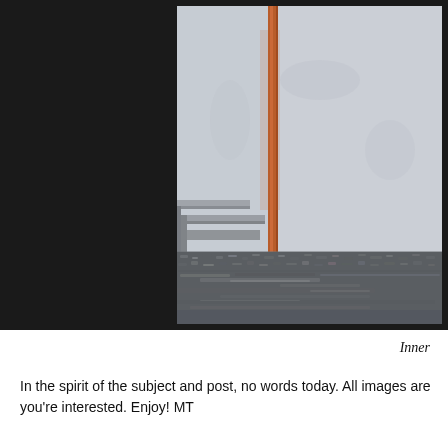[Figure (photo): A photograph showing the lower portion of an industrial or urban wall scene. A copper/orange vertical pipe runs down a weathered concrete or plaster wall. The floor is covered with dark gravel or aggregate material. Steps or ledge visible on the left side. The image is partially cropped, showing the right portion of a larger photo extending beyond the page boundary.]
Inner
In the spirit of the subject and post, no words today. All images are you're interested. Enjoy! MT